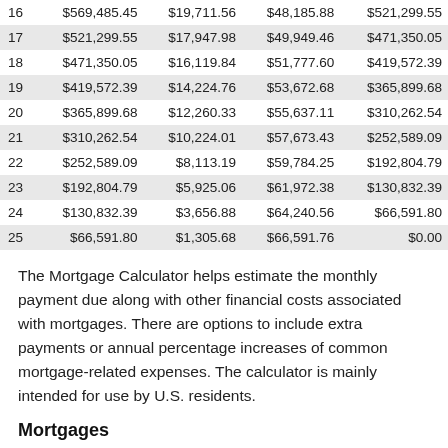|  |  |  |  |  |
| --- | --- | --- | --- | --- |
| 16 | $569,485.45 | $19,711.56 | $48,185.88 | $521,299.55 |
| 17 | $521,299.55 | $17,947.98 | $49,949.46 | $471,350.05 |
| 18 | $471,350.05 | $16,119.84 | $51,777.60 | $419,572.39 |
| 19 | $419,572.39 | $14,224.76 | $53,672.68 | $365,899.68 |
| 20 | $365,899.68 | $12,260.33 | $55,637.11 | $310,262.54 |
| 21 | $310,262.54 | $10,224.01 | $57,673.43 | $252,589.09 |
| 22 | $252,589.09 | $8,113.19 | $59,784.25 | $192,804.79 |
| 23 | $192,804.79 | $5,925.06 | $61,972.38 | $130,832.39 |
| 24 | $130,832.39 | $3,656.88 | $64,240.56 | $66,591.80 |
| 25 | $66,591.80 | $1,305.68 | $66,591.76 | $0.00 |
The Mortgage Calculator helps estimate the monthly payment due along with other financial costs associated with mortgages. There are options to include extra payments or annual percentage increases of common mortgage-related expenses. The calculator is mainly intended for use by U.S. residents.
Mortgages
A mortgage is a loan secured by property, usually real